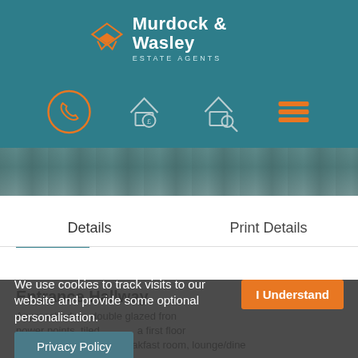[Figure (logo): Murdock & Wasley Estate Agents logo with orange diamond/arrow icon on teal background]
[Figure (infographic): Navigation icons row: phone (highlighted in orange circle), house with pound sign, house with magnifying glass, hamburger menu]
[Figure (photo): Partial photo strip showing cobblestone or paving stones in muted teal tones]
Details
Print Details
Entrance Hallway
Approached via double glazed front power points, tiled a first floor to cloakroom, kitchen/breakfast room, lounge/dine
We use cookies to track visits to our website and provide some optional personalisation.
I Understand
Privacy Policy